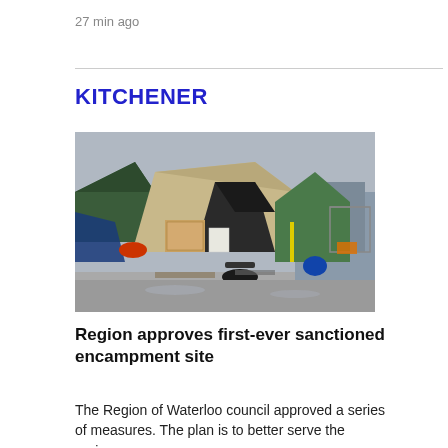27 min ago
KITCHENER
[Figure (photo): Outdoor homeless encampment showing tents, tarps, cardboard structures, and scattered belongings on a sidewalk or paved area in cold weather.]
Region approves first-ever sanctioned encampment site
The Region of Waterloo council approved a series of measures. The plan is to better serve the region…